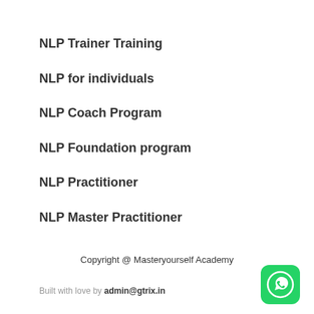NLP Trainer Training
NLP for individuals
NLP Coach Program
NLP Foundation program
NLP Practitioner
NLP Master Practitioner
Copyright @ Masteryourself Academy
Built with love by admin@gtrix.in